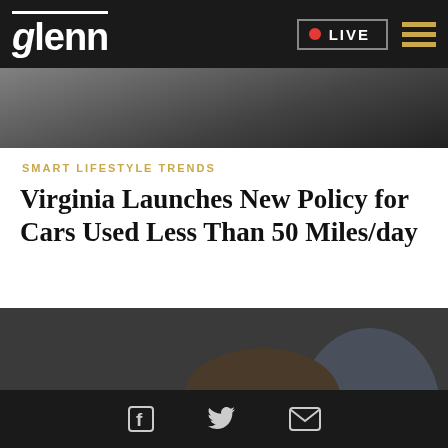glenn • LIVE
[Figure (photo): Dark background partial photo strip at top of article]
SMART LIFESTYLE TRENDS
Virginia Launches New Policy for Cars Used Less Than 50 Miles/day
[Figure (photo): Man in grey blazer and glasses holding his hand to his forehead in a stressed pose]
Facebook, Twitter, Email share icons